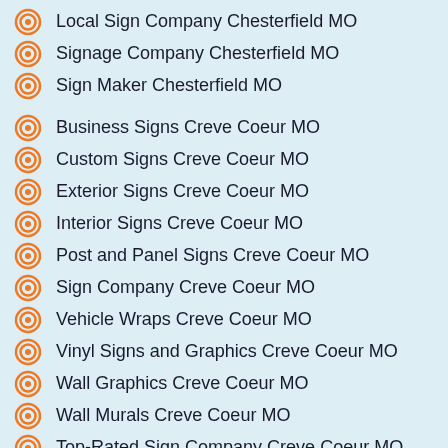Local Sign Company Chesterfield MO
Signage Company Chesterfield MO
Sign Maker Chesterfield MO
Business Signs Creve Coeur MO
Custom Signs Creve Coeur MO
Exterior Signs Creve Coeur MO
Interior Signs Creve Coeur MO
Post and Panel Signs Creve Coeur MO
Sign Company Creve Coeur MO
Vehicle Wraps Creve Coeur MO
Vinyl Signs and Graphics Creve Coeur MO
Wall Graphics Creve Coeur MO
Wall Murals Creve Coeur MO
Top-Rated Sign Company Creve Coeur MO
Signage Company Creve Coeur MO
Local Sign Company Creve Coeur MO
Sign Shop Creve Coeur MO
Graphic Design Company Creve Coeur MO
Sign Maker Creve Coeur MO